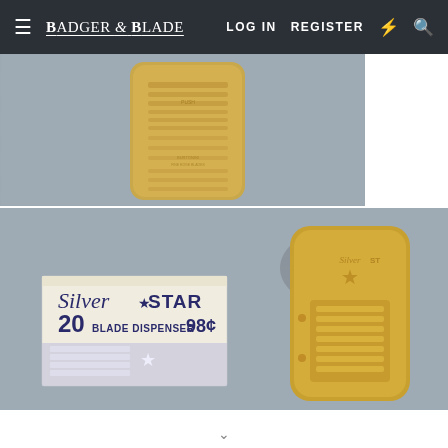Badger & Blade | LOG IN | REGISTER
[Figure (photo): Close-up photo of a gold-colored metal blade dispenser on a gray textured cloth background, showing embossed text on top surface]
[Figure (photo): Photo of Silver Star 20 Blade Dispenser box priced at 98 cents next to a gold-colored metal blade dispenser, both on a gray textured cloth background]